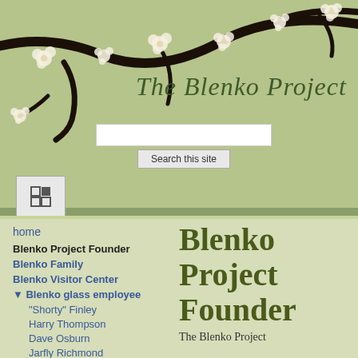[Figure (illustration): Cherry blossom branch with white flowers on sage green background, decorative website header]
The Blenko Project
[Figure (screenshot): Search input box and Search this site button]
[Figure (screenshot): Navigation toggle button with grid icon]
home
Blenko Project Founder
Blenko Family
Blenko Visitor Center
▼ Blenko glass employee
"Shorty" Finley
Harry Thompson
Dave Osburn
Jarfly Richmond
Jessie Carpenter
Blenko Project Founder
The Blenko Project